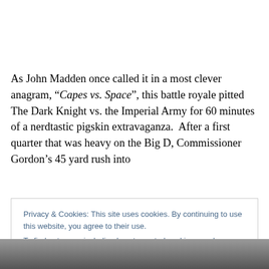As John Madden once called it in a most clever anagram, “Capes vs. Space”, this battle royale pitted The Dark Knight vs. the Imperial Army for 60 minutes of a nerdtastic pigskin extravaganza.  After a first quarter that was heavy on the Big D, Commissioner Gordon’s 45 yard rush into
Privacy & Cookies: This site uses cookies. By continuing to use this website, you agree to their use.
To find out more, including how to control cookies, see here: Cookie Policy
[Figure (photo): Partial photo strip at bottom of page, showing what appears to be people or athletes, mostly obscured]